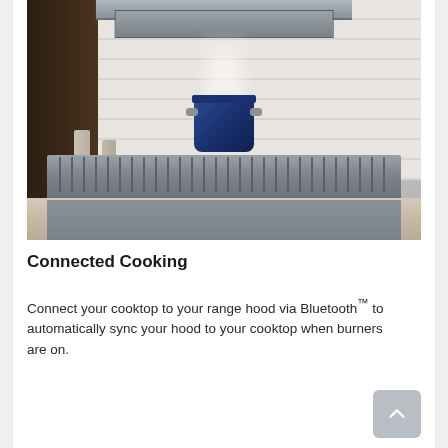[Figure (photo): Kitchen scene showing a stainless steel range hood above a gas cooktop with a blue pot steaming on the burner, set against a white shiplap wall with granite countertops and dark wood cabinets.]
Connected Cooking
Connect your cooktop to your range hood via Bluetooth™ to automatically sync your hood to your cooktop when burners are on.